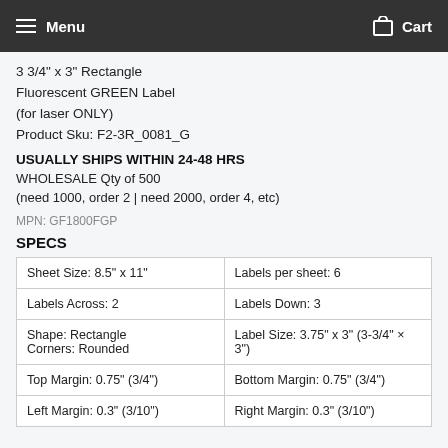Menu  Cart
3 3/4" x 3" Rectangle
Fluorescent GREEN Label
(for laser ONLY)
Product Sku: F2-3R_0081_G
USUALLY SHIPS WITHIN 24-48 HRS
WHOLESALE Qty of 500
(need 1000, order 2 | need 2000, order 4, etc)
MPN: GF1800FGP
SPECS
| Sheet Size: 8.5" x 11" | Labels per sheet: 6 |
| Labels Across: 2 | Labels Down: 3 |
| Shape: Rectangle
Corners: Rounded | Label Size: 3.75" x 3" (3-3/4" × 3") |
| Top Margin: 0.75" (3/4") | Bottom Margin: 0.75" (3/4") |
| Left Margin: 0.3" (3/10") | Right Margin: 0.3" (3/10") |